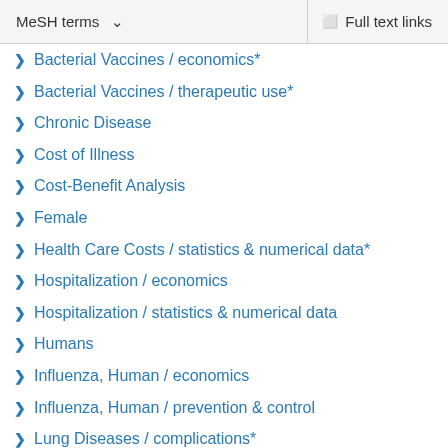MeSH terms  ∨   Full text links
Bacterial Vaccines / economics*
Bacterial Vaccines / therapeutic use*
Chronic Disease
Cost of Illness
Cost-Benefit Analysis
Female
Health Care Costs / statistics & numerical data*
Hospitalization / economics
Hospitalization / statistics & numerical data
Humans
Influenza, Human / economics
Influenza, Human / prevention & control
Lung Diseases / complications*
Male
Odds Ratio
Pneumococcal Infections / economics*
Pneumococcal Infections / etiology